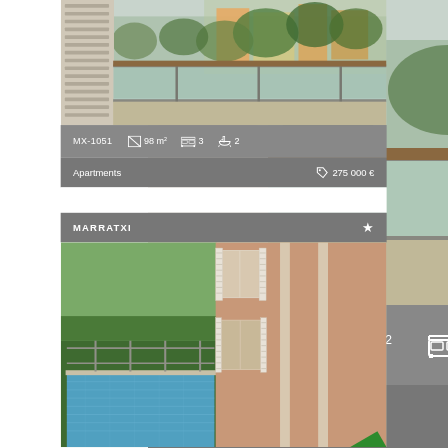[Figure (photo): Balcony with glass railing overlooking trees and colorful apartment buildings]
MX-1051  98 m²  3  2
Apartments  275 000 €
MARRATXI  ★
[Figure (photo): House with swimming pool, green hedge, and pink facade with white shutters. Green ribbon with 'license' text in bottom-right corner.]